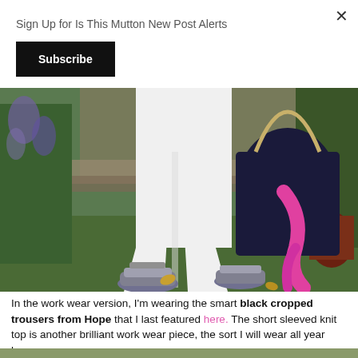Sign Up for Is This Mutton New Post Alerts
Subscribe
[Figure (photo): Lower half of a person wearing white wide-leg cropped trousers and metallic wedge sandals, standing on grass in a garden. They are holding a large dark navy woven bag with rope handles and a bright pink scarf draped over it. Garden plants and steps visible in background.]
In the work wear version, I'm wearing the smart black cropped trousers from Hope that I last featured here. The short sleeved knit top is another brilliant work wear piece, the sort I will wear all year long.